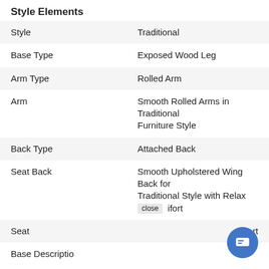Style Elements
|  |  |
| --- | --- |
| Style | Traditional |
| Base Type | Exposed Wood Leg |
| Arm Type | Rolled Arm |
| Arm | Smooth Rolled Arms in Traditional Furniture Style |
| Back Type | Attached Back |
| Seat Back | Smooth Upholstered Wing Back for Traditional Style with Relax  ifort |
| Seat | rt |
| Base Description | Anne Period |
[Figure (screenshot): Chat popup overlay showing a woman's avatar photo and the text 'Hi there, have a question? Text us here.' with a close button and a blue chat icon button in the bottom right.]
Dimensions
21